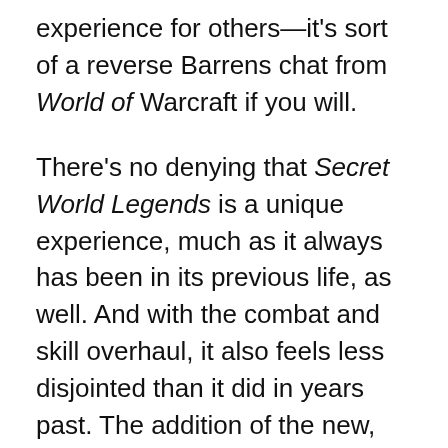experience for others—it's sort of a reverse Barrens chat from World of Warcraft if you will.
There's no denying that Secret World Legends is a unique experience, much as it always has been in its previous life, as well. And with the combat and skill overhaul, it also feels less disjointed than it did in years past. The addition of the new, unique mechanics to each weapon type makes for some really interesting new opportunities for engagement. Similarly, the choice of a starter class helps to ease new players past the old,